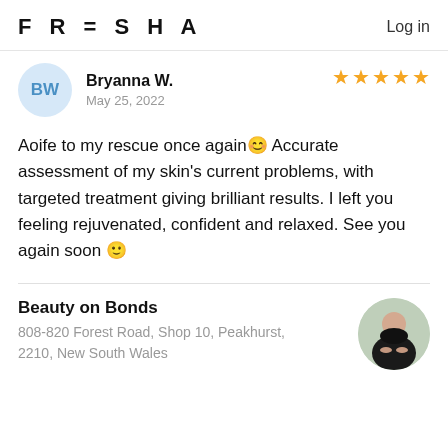FRESHA  Log in
BW
Bryanna W.
May 25, 2022
[Figure (other): 5 gold star rating icons]
Aoife to my rescue once again😊 Accurate assessment of my skin's current problems, with targeted treatment giving brilliant results. I left you feeling rejuvenated, confident and relaxed. See you again soon 🙂
Beauty on Bonds
808-820 Forest Road, Shop 10, Peakhurst, 2210, New South Wales
[Figure (photo): Circular photo of a woman in black clothing providing a beauty treatment]